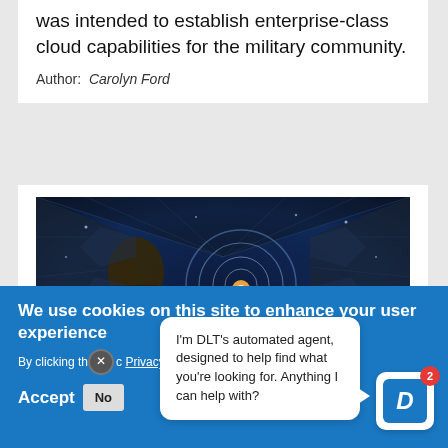was intended to establish enterprise-class cloud capabilities for the military community.
Author: Carolyn Ford
[Figure (photo): Dark futuristic tunnel with glowing orange light and circular energy rings — technology/AI themed stock photo]
We use cookies on this site to enhance your user experience
By clicking th... Privacy Policy
I'm DLT's automated agent, designed to help find what you're looking for. Anything I can help with?